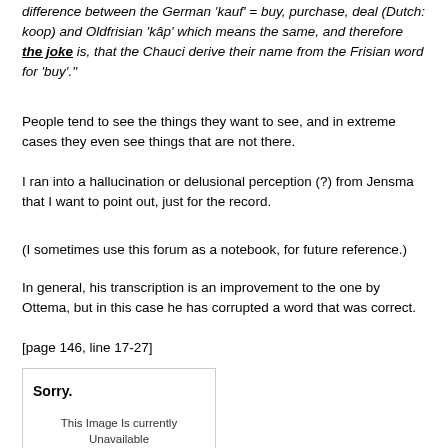difference between the German 'kauf' = buy, purchase, deal (Dutch: koop) and Oldfrisian 'kâp' which means the same, and therefore the joke is, that the Chauci derive their name from the Frisian word for 'buy'."
People tend to see the things they want to see, and in extreme cases they even see things that are not there.
I ran into a hallucination or delusional perception (?) from Jensma that I want to point out, just for the record.
(I sometimes use this forum as a notebook, for future reference.)
In general, his transcription is an improvement to the one by Ottema, but in this case he has corrupted a word that was correct.
[page 146, line 17-27]
[Figure (other): Photobucket image placeholder showing 'Sorry. This Image Is currently Unavailable' with photobucket logo at bottom]